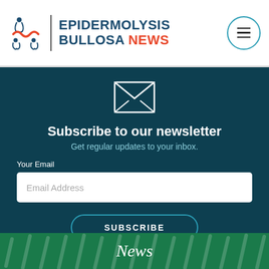EPIDERMOLYSIS BULLOSA NEWS
Subscribe to our newsletter
Get regular updates to your inbox.
Your Email
Email Address
SUBSCRIBE
News